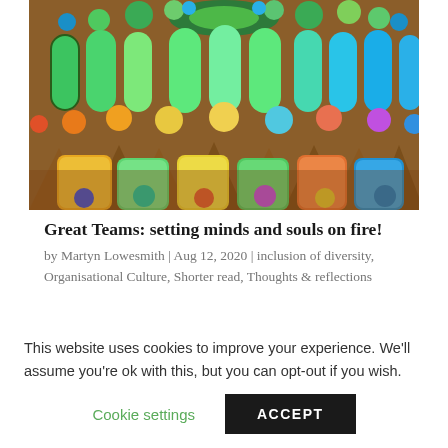[Figure (photo): Interior photograph of Sagrada Família cathedral showing colorful stained glass windows with green, blue, and orange hues, and geometric stone columns]
Great Teams: setting minds and souls on fire!
by Martyn Lowesmith | Aug 12, 2020 | inclusion of diversity, Organisational Culture, Shorter read, Thoughts & reflections
This website uses cookies to improve your experience. We'll assume you're ok with this, but you can opt-out if you wish.
Cookie settings  ACCEPT